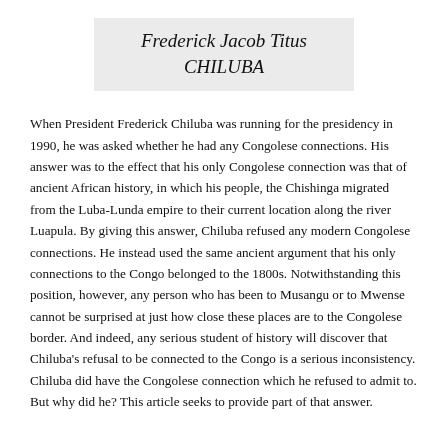Frederick Jacob Titus CHILUBA
When President Frederick Chiluba was running for the presidency in 1990, he was asked whether he had any Congolese connections. His answer was to the effect that his only Congolese connection was that of ancient African history, in which his people, the Chishinga migrated from the Luba-Lunda empire to their current location along the river Luapula. By giving this answer, Chiluba refused any modern Congolese connections. He instead used the same ancient argument that his only connections to the Congo belonged to the 1800s. Notwithstanding this position, however, any person who has been to Musangu or to Mwense cannot be surprised at just how close these places are to the Congolese border. And indeed, any serious student of history will discover that Chiluba's refusal to be connected to the Congo is a serious inconsistency. Chiluba did have the Congolese connection which he refused to admit to. But why did he? This article seeks to provide part of that answer.